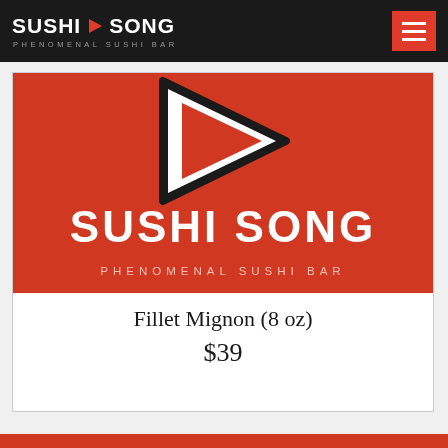SUSHI SONG - PHENOMENAL SUSHI BAR
[Figure (logo): Sushi Song restaurant logo on red background with play button icon, large white text reading SUSHI SONG and subtitle PHENOMENAL SUSHI BAR]
Fillet Mignon (8 oz)
$39